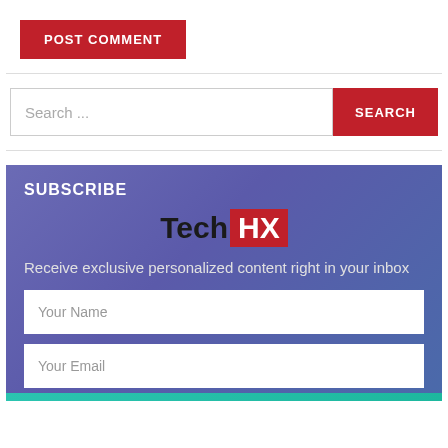POST COMMENT
Search ...
SEARCH
SUBSCRIBE
[Figure (logo): TechHX logo with 'Tech' in dark/black and 'HX' in white on a red background]
Receive exclusive personalized content right in your inbox
Your Name
Your Email